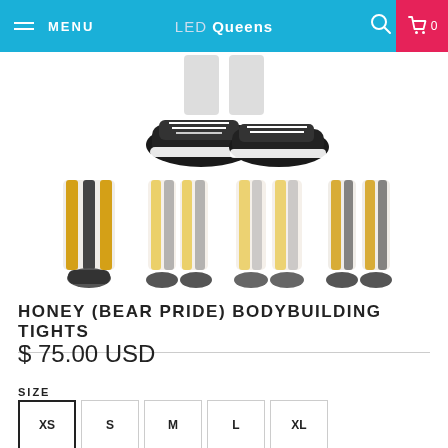MENU | LED Queens | 0
[Figure (photo): Partial view of person wearing black sneakers, bottom of leggings visible]
[Figure (photo): Four thumbnail views of Honey (Bear Pride) Bodybuilding Tights — yellow and black striped leggings shown from different angles]
HONEY (BEAR PRIDE) BODYBUILDING TIGHTS
$ 75.00 USD
SIZE
XS  S  M  L  XL
QTY